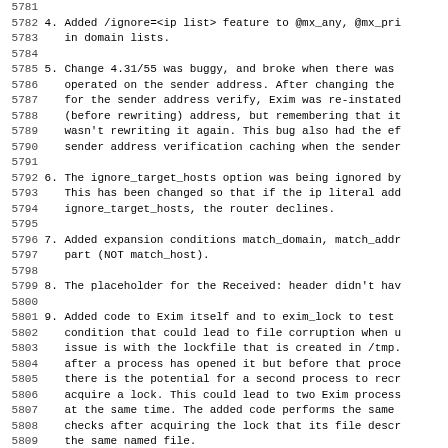4. Added /ignore=<ip list> feature to @mx_any, @mx_pri in domain lists.
5. Change 4.31/55 was buggy, and broke when there was operated on the sender address. After changing the for the sender address verify, Exim was re-instated (before rewriting) address, but remembering that it wasn't rewriting it again. This bug also had the ef sender address verification caching when the sender
6. The ignore_target_hosts option was being ignored by This has been changed so that if the ip literal add ignore_target_hosts, the router declines.
7. Added expansion conditions match_domain, match_addr part (NOT match_host).
8. The placeholder for the Received: header didn't hav
9. Added code to Exim itself and to exim_lock to test condition that could lead to file corruption when u issue is with the lockfile that is created in /tmp. after a process has opened it but before that proce there is the potential for a second process to recr acquire a lock. This could lead to two Exim process at the same time. The added code performs the same checks after acquiring the lock that its file descr the same named file.
10. The buffer for building added header lines was of f It is now parameterized by HEADER_ADD_BUFFER_SIZE a